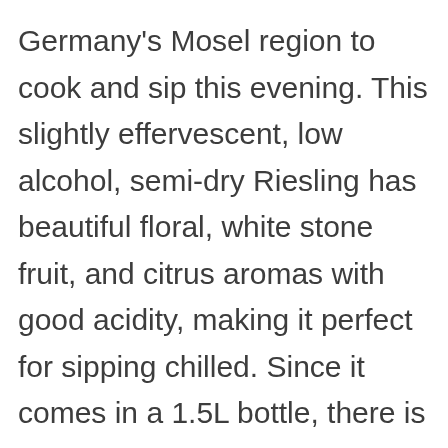Germany's Mosel region to cook and sip this evening. This slightly effervescent, low alcohol, semi-dry Riesling has beautiful floral, white stone fruit, and citrus aromas with good acidity, making it perfect for sipping chilled. Since it comes in a 1.5L bottle, there is plenty for the soup and to go around at the dinner table later – Prost!